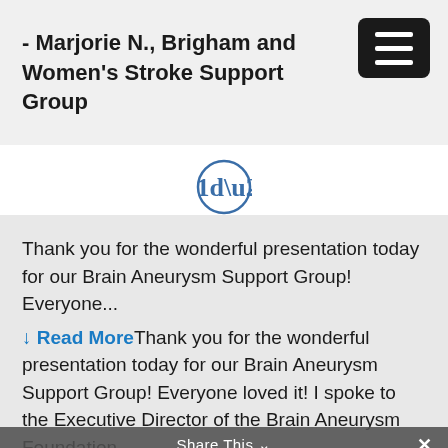- Marjorie N., Brigham and Women's Stroke Support Group
[Figure (other): Circular quote icon with closing quotation marks in blue outline]
Thank you for the wonderful presentation today for our Brain Aneurysm Support Group! Everyone... ↓ Read More Thank you for the wonderful presentation today for our Brain Aneurysm Support Group! Everyone loved it! I spoke to the Executive Director of the Brain Aneurysm Foundation
Share This ∨  ×